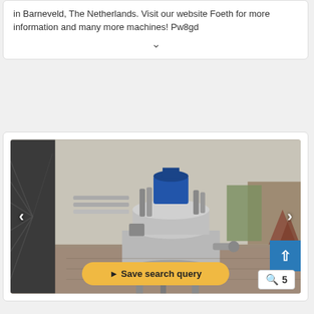in Barneveld, The Netherlands. Visit our website Foeth for more information and many more machines! Pw8gd
[Figure (photo): Industrial stainless steel mixing/reactor vessel with blue electric motor on top, mounted on a frame, photographed outdoors in a yard with brick-paved ground and warehouse buildings in background. Navigation arrows visible on left and right sides of the image carousel.]